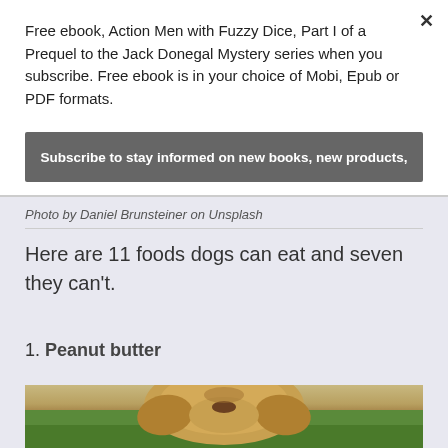Free ebook, Action Men with Fuzzy Dice, Part I of a Prequel to the Jack Donegal Mystery series when you subscribe. Free ebook is in your choice of Mobi, Epub or PDF formats.
Subscribe to stay informed on new books, new products,
Photo by Daniel Brunsteiner on Unsplash
Here are 11 foods dogs can eat and seven they can't.
1. Peanut butter
[Figure (photo): Close-up of a golden/yellow Labrador dog's head against a green background, cropped at the bottom of the page]